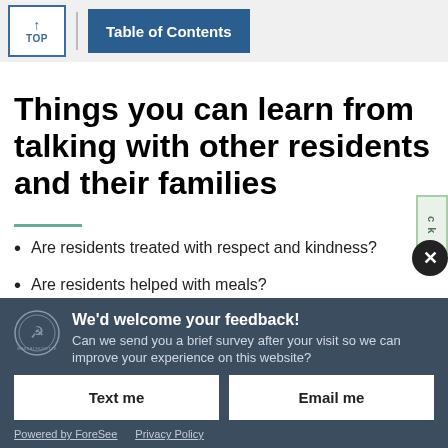TOP | Table of Contents
Things you can learn from talking with other residents and their families
Are residents treated with respect and kindness?
Are residents helped with meals?
Does the facility respect the resident's wishes
We'd welcome your feedback! Can we send you a brief survey after your visit so we can improve your experience on this website?
Text me
Email me
Powered by ForeSee   Privacy Policy